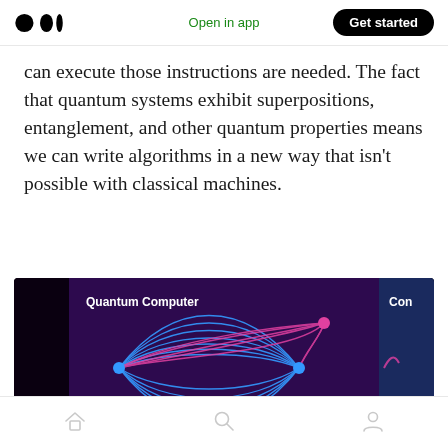Medium logo | Open in app | Get started
can execute those instructions are needed. The fact that quantum systems exhibit superpositions, entanglement, and other quantum properties means we can write algorithms in a new way that isn't possible with classical machines.
[Figure (illustration): Dark background illustration showing a Quantum Computer diagram with blue and pink/magenta curved lines forming an eye-like shape between nodes, labeled 'Quantum Computer' in white text. A partial second panel labeled 'Con' is visible on the right edge.]
Home | Search | Profile navigation icons